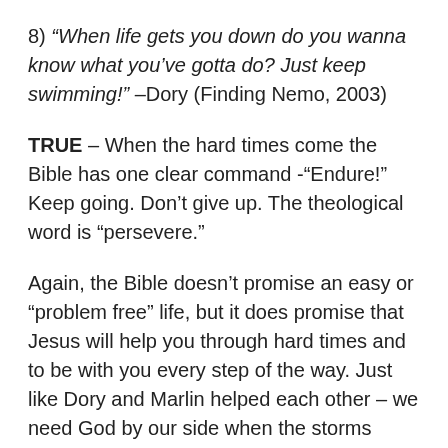8) “When life gets you down do you wanna know what you’ve gotta do? Just keep swimming!” –Dory (Finding Nemo, 2003)
TRUE – When the hard times come the Bible has one clear command -“Endure!” Keep going. Don’t give up. The theological word is “persevere.”
Again, the Bible doesn’t promise an easy or “problem free” life, but it does promise that Jesus will help you through hard times and to be with you every step of the way. Just like Dory and Marlin helped each other – we need God by our side when the storms come. “We rejoice in our